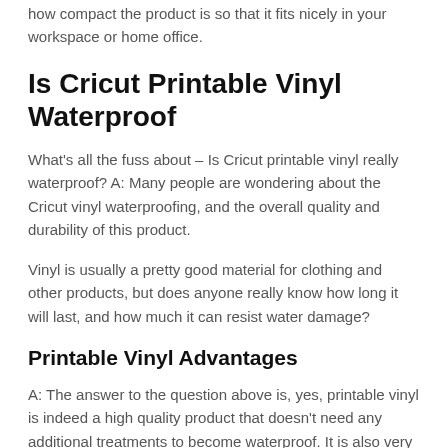how compact the product is so that it fits nicely in your workspace or home office.
Is Cricut Printable Vinyl Waterproof
What's all the fuss about – Is Cricut printable vinyl really waterproof? A: Many people are wondering about the Cricut vinyl waterproofing, and the overall quality and durability of this product.
Vinyl is usually a pretty good material for clothing and other products, but does anyone really know how long it will last, and how much it can resist water damage?
Printable Vinyl Advantages
A: The answer to the question above is, yes, printable vinyl is indeed a high quality product that doesn't need any additional treatments to become waterproof. It is also very resistant to water damage